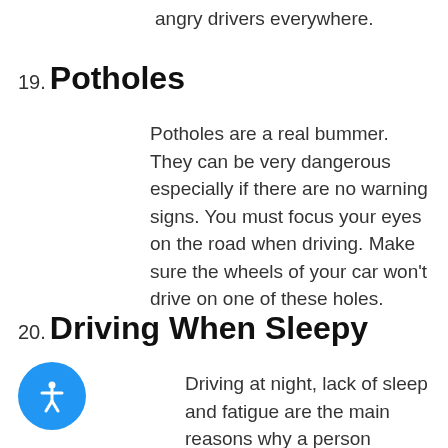angry drivers everywhere.
19. Potholes
Potholes are a real bummer. They can be very dangerous especially if there are no warning signs. You must focus your eyes on the road when driving. Make sure the wheels of your car won't drive on one of these holes.
20. Driving When Sleepy
Driving at night, lack of sleep and fatigue are the main reasons why a person becomes sleepy when